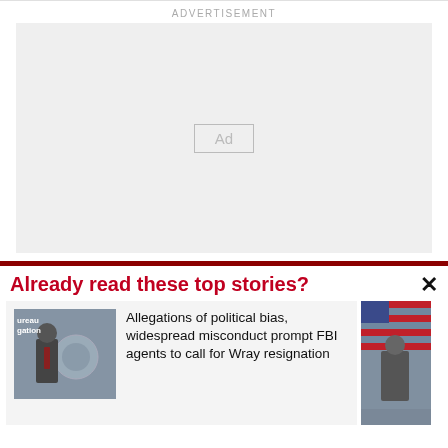ADVERTISEMENT
[Figure (other): Advertisement placeholder box with 'Ad' label in center]
Already read these top stories?
[Figure (photo): News story thumbnail: FBI bureau investigation sign with man in suit]
Allegations of political bias, widespread misconduct prompt FBI agents to call for Wray resignation
[Figure (photo): News story thumbnail: American flag with military person]